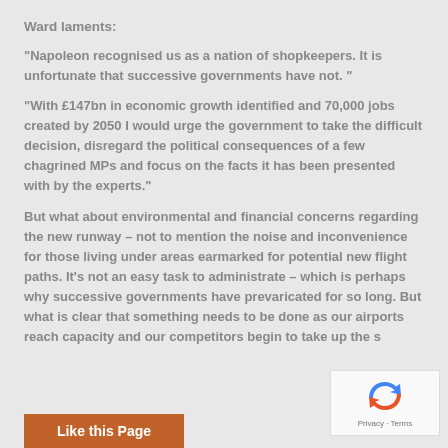Ward laments:
“Napoleon recognised us as a nation of shopkeepers. It is unfortunate that successive governments have not. ”
“With £147bn in economic growth identified and 70,000 jobs created by 2050 I would urge the government to take the difficult decision, disregard the political consequences of a few chagrined MPs and focus on the facts it has been presented with by the experts.”
But what about environmental and financial concerns regarding the new runway – not to mention the noise and inconvenience for those living under areas earmarked for potential new flight paths. It’s not an easy task to administrate – which is perhaps why successive governments have prevaricated for so long. But what is clear that something needs to be done as our airports reach capacity and our competitors begin to take up the s
Like this Page